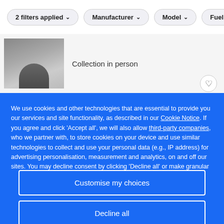[Figure (screenshot): Filter bar with pill-shaped buttons: '2 filters applied ∨', 'Manufacturer ∨', 'Model ∨', 'Fuel ∨']
Collection in person
We use cookies and other technologies that are essential to provide you our services and site functionality, as described in our Cookie Notice. If you agree and click 'Accept all', we will also allow third-party companies, who we partner with, to store cookies on your device and use similar technologies to collect and use your personal data (e.g., IP address) for advertising personalisation, measurement and analytics, on and off our sites. You may decline consent by clicking 'Decline all' or make granular choices by clicking 'Customise my choices'.
Customise my choices
Decline all
Accept all